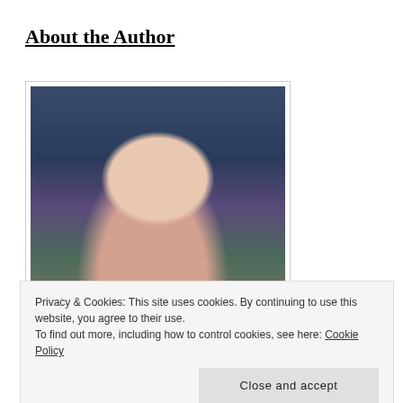About the Author
[Figure (photo): Photo of a young woman with long brown hair, smiling, seated in a restaurant or bar setting with a blue velvet chair and brick wall behind her.]
Privacy & Cookies: This site uses cookies. By continuing to use this website, you agree to their use.
To find out more, including how to control cookies, see here: Cookie Policy
comedy. In her spare time she enjoys drinking her body